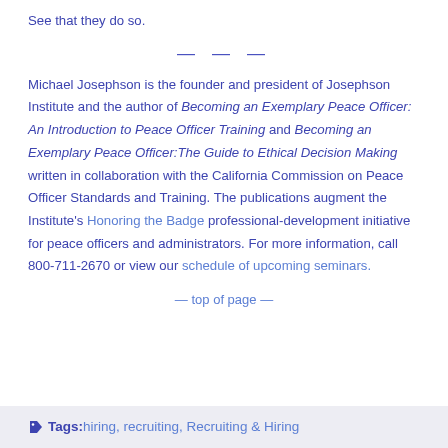See that they do so.
— — —
Michael Josephson is the founder and president of Josephson Institute and the author of Becoming an Exemplary Peace Officer: An Introduction to Peace Officer Training and Becoming an Exemplary Peace Officer:The Guide to Ethical Decision Making written in collaboration with the California Commission on Peace Officer Standards and Training. The publications augment the Institute's Honoring the Badge professional-development initiative for peace officers and administrators. For more information, call 800-711-2670 or view our schedule of upcoming seminars.
— top of page —
Tags: hiring, recruiting, Recruiting & Hiring